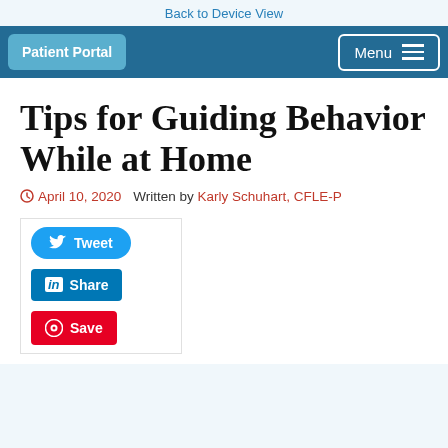Back to Device View
Patient Portal | Menu
Tips for Guiding Behavior While at Home
April 10, 2020   Written by Karly Schuhart, CFLE-P
Tweet
Share
Save